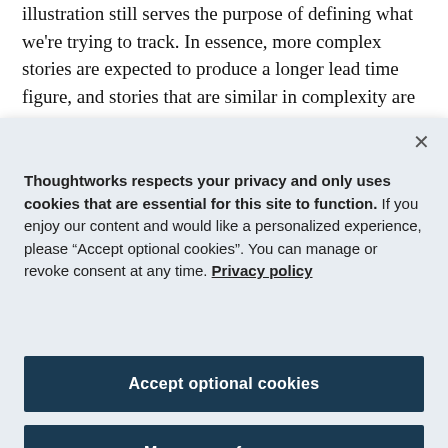illustration still serves the purpose of defining what we're trying to track. In essence, more complex stories are expected to produce a longer lead time figure, and stories that are similar in complexity are
Thoughtworks respects your privacy and only uses cookies that are essential for this site to function. If you enjoy our content and would like a personalized experience, please “Accept optional cookies”. You can manage or revoke consent at any time. Privacy policy
Accept optional cookies
Manage preferences